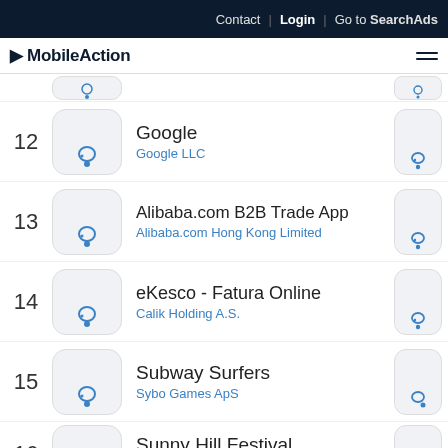Contact | Login | Go to SearchAds
MobileAction
| Rank | Icon | App Name / Developer |  |
| --- | --- | --- | --- |
| 12 |  | Google
Google LLC |  |
| 13 |  | Alibaba.com B2B Trade App
Alibaba.com Hong Kong Limited |  |
| 14 |  | eKesco - Fatura Online
Calik Holding A.S. |  |
| 15 |  | Subway Surfers
Sybo Games ApS |  |
| 16 |  | Sunny Hill Festival
Visar Breznica |  |